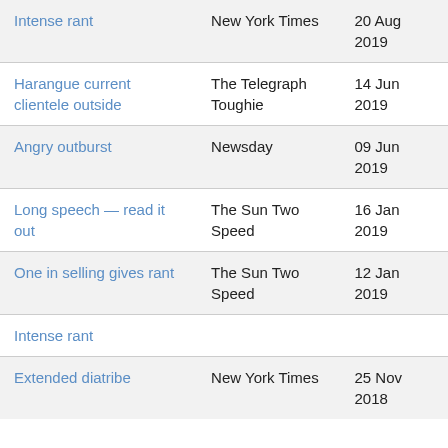| Intense rant | New York Times | 20 Aug 2019 |
| Harangue current clientele outside | The Telegraph Toughie | 14 Jun 2019 |
| Angry outburst | Newsday | 09 Jun 2019 |
| Long speech — read it out | The Sun Two Speed | 16 Jan 2019 |
| One in selling gives rant | The Sun Two Speed | 12 Jan 2019 |
| Intense rant |  |  |
| Extended diatribe | New York Times | 25 Nov 2018 |